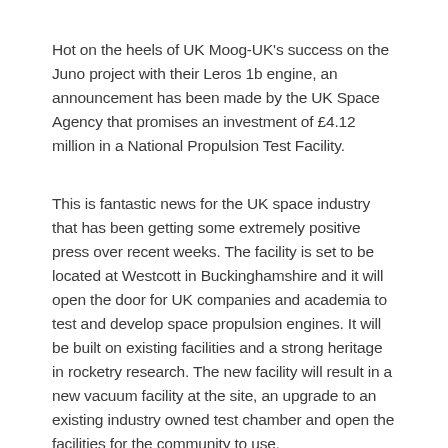Hot on the heels of UK Moog-UK's success on the Juno project with their Leros 1b engine, an announcement has been made by the UK Space Agency that promises an investment of £4.12 million in a National Propulsion Test Facility.
This is fantastic news for the UK space industry that has been getting some extremely positive press over recent weeks. The facility is set to be located at Westcott in Buckinghamshire and it will open the door for UK companies and academia to test and develop space propulsion engines. It will be built on existing facilities and a strong heritage in rocketry research. The new facility will result in a new vacuum facility at the site, an upgrade to an existing industry owned test chamber and open the facilities for the community to use.